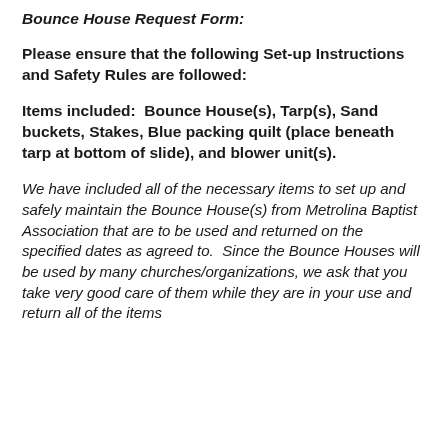Bounce House Request Form:
Please ensure that the following Set-up Instructions and Safety Rules are followed:
Items included:  Bounce House(s), Tarp(s), Sand buckets, Stakes, Blue packing quilt (place beneath tarp at bottom of slide), and blower unit(s).
We have included all of the necessary items to set up and safely maintain the Bounce House(s) from Metrolina Baptist Association that are to be used and returned on the specified dates as agreed to.  Since the Bounce Houses will be used by many churches/organizations, we ask that you take very good care of them while they are in your use and return all of the items